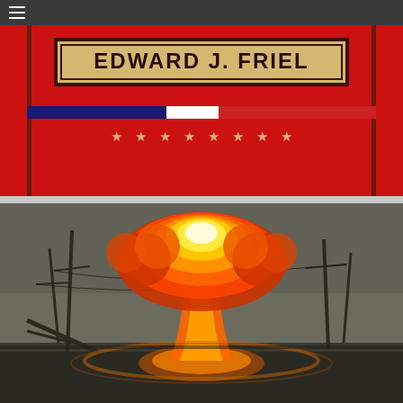[Figure (illustration): Navigation bar with dark gray background and hamburger menu icon (three horizontal white lines) in the top-left corner]
[Figure (illustration): Book cover section with red background. A cream/tan bordered box displays the author name 'EDWARD J. FRIEL' in large bold dark brown capital letters. Below are decorative red and blue/white stripes. A row of 8 small cream-colored stars appears in the lower portion of the red background.]
[Figure (photo): Dramatic photo of a nuclear mushroom cloud explosion with orange and yellow fiery colors rising from a street scene with fallen utility poles and power lines in a gray apocalyptic sky. The explosion fills the center of the frame with the mushroom cloud shape clearly visible.]